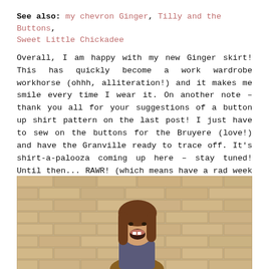See also: my chevron Ginger, Tilly and the Buttons, Sweet Little Chickadee
Overall, I am happy with my new Ginger skirt! This has quickly become a work wardrobe workhorse (ohhh, alliteration!) and it makes me smile every time I wear it. On another note – thank you all for your suggestions of a button up shirt pattern on the last post! I just have to sew on the buttons for the Bruyere (love!) and have the Granville ready to trace off. It's shirt-a-palooza coming up here – stay tuned! Until then... RAWR! (which means have a rad week in raptor!)
[Figure (photo): Photo of a young woman with long brown hair, mouth open in a roar expression, standing in front of a brick wall]